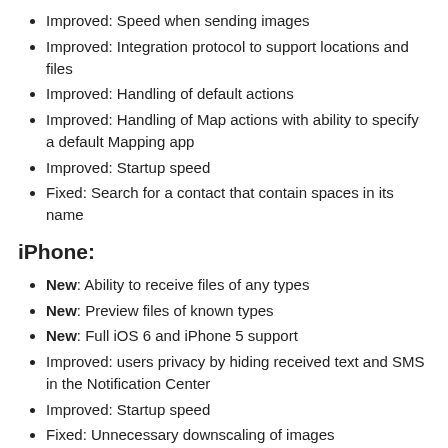Improved: Speed when sending images
Improved: Integration protocol to support locations and files
Improved: Handling of default actions
Improved: Handling of Map actions with ability to specify a default Mapping app
Improved: Startup speed
Fixed: Search for a contact that contain spaces in its name
iPhone:
New: Ability to receive files of any types
New: Preview files of known types
New: Full iOS 6 and iPhone 5 support
Improved: users privacy by hiding received text and SMS in the Notification Center
Improved: Startup speed
Fixed: Unnecessary downscaling of images